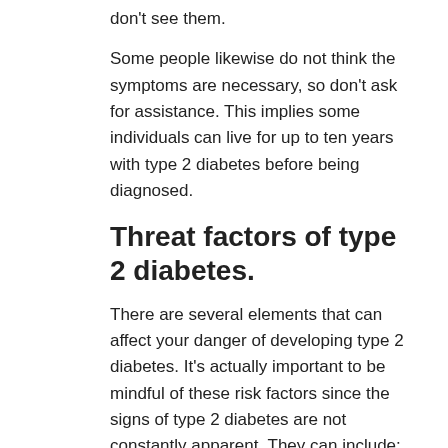don't see them.
Some people likewise do not think the symptoms are necessary, so don't ask for assistance. This implies some individuals can live for up to ten years with type 2 diabetes before being diagnosed.
Threat factors of type 2 diabetes.
There are several elements that can affect your danger of developing type 2 diabetes. It's actually important to be mindful of these risk factors since the signs of type 2 diabetes are not constantly apparent. They can include:
your age
Bro, sister or kid with diabetes if you have a